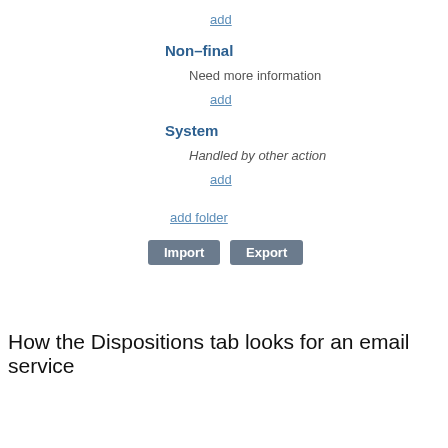add
Non-final
Need more information
add
System
Handled by other action
add
add folder
[Figure (screenshot): Import and Export buttons]
How the Dispositions tab looks for an email service